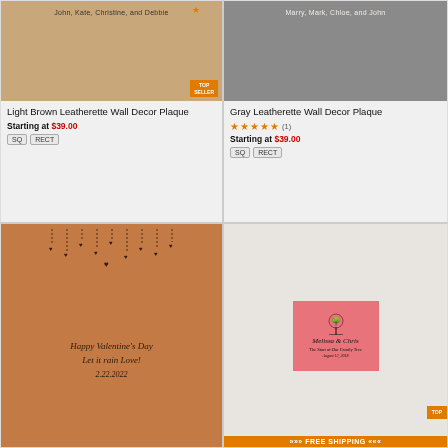[Figure (photo): Light brown leatherette wall decor plaque with text 'John, Kate, Christine, and Debbie' and TOP SELLER badge]
Light Brown Leatherette Wall Decor Plaque
Starting at $39.00
SQ  RECT
[Figure (photo): Gray leatherette wall decor plaque with text 'Marry, Mark, Chloe, and John']
Gray Leatherette Wall Decor Plaque
★★★★★ (1)
Starting at $39.00
SQ  RECT
[Figure (photo): Light brown leatherette plaque with hearts decoration and Valentine's Day script: 'Happy Valentine's Day Let it rain Love! 2.22.2022']
[Figure (photo): Pink family tree plaque with text 'Melissa & Chris, The Start of Our Family Tree, August 12, 2018' and TOP badge, FREE SHIPPING banner at bottom]